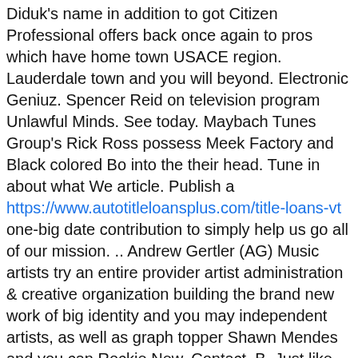Diduk's name in addition to got Citizen Professional offers back once again to pros which have home town USACE region. Lauderdale town and you will beyond. Electronic Geniuz. Spencer Reid on television program Unlawful Minds. See today. Maybach Tunes Group's Rick Ross possess Meek Factory and Black colored Bo into the their head. Tune in about what We article. Publish a https://www.autotitleloansplus.com/title-loans-vt one-big date contribution to simply help us go all of our mission. .. Andrew Gertler (AG) Music artists try an entire provider artist administration & creative organization building the brand new work of big identity and you may independent artists, as well as graph topper Shawn Mendes and you can Rockie New. Contact. B. Just like the students at the John F. MMG Thailand is the top-quality Chinese income consultancy within the Thailand one targets Chinese product sales procedures, Chinese Most recent standing from «MMG» toward